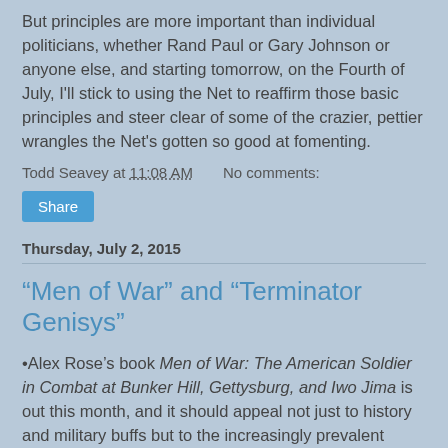But principles are more important than individual politicians, whether Rand Paul or Gary Johnson or anyone else, and starting tomorrow, on the Fourth of July, I'll stick to using the Net to reaffirm those basic principles and steer clear of some of the crazier, pettier wrangles the Net's gotten so good at fomenting.
Todd Seavey at 11:08 AM   No comments:
Share
Thursday, July 2, 2015
“Men of War” and “Terminator Genisys”
•Alex Rose’s book Men of War: The American Soldier in Combat at Bunker Hill, Gettysburg, and Iwo Jima is out this month, and it should appeal not just to history and military buffs but to the increasingly prevalent gamer mind (I suspect the future will not understand how we could have thought these were all separate disciplines).